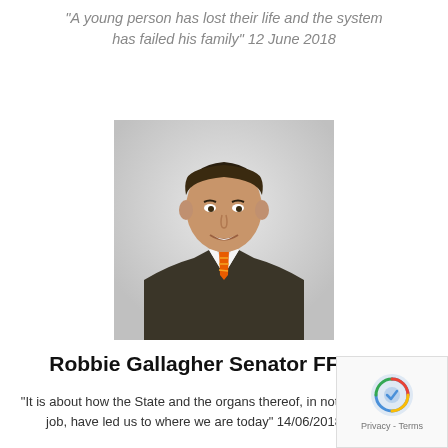"A young person has lost their life and the system has failed his family" 12 June 2018
[Figure (photo): Professional headshot of Robbie Gallagher Senator FF, a middle-aged man in a dark suit with an orange striped tie, smiling, against a light grey background]
Robbie Gallagher Senator FF
"It is about how the State and the organs thereof, in not doing their job, have led us to where we are today" 14/06/2018